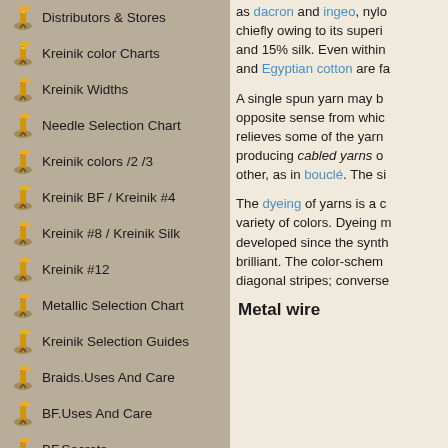Distributors & Stores
Kreinik color Charts
Kreinik Widths
Needle Selection Chart
Kreinik colors /2 /3
Kreinik BF / Kreinik #4
Kreinik #8 / Kreinik Silk
Kreinik #12
Metallic Selection Chart
Kreinik Selection Guides
Braids.Uses And Care
BF.Uses And Care
BF.Secrets
Kreinik How-To
Kreinik Articles
as dacron and ingeo, nylo chiefly owing to its superi and 15% silk. Even within and Egyptian cotton are fa
A single spun yarn may b opposite sense from whic relieves some of the yarn producing cabled yarns o other, as in bouclé. The si
The dyeing of yarns is a c variety of colors. Dyeing m developed since the synth brilliant. The color-schem diagonal stripes; converse
Metal wire